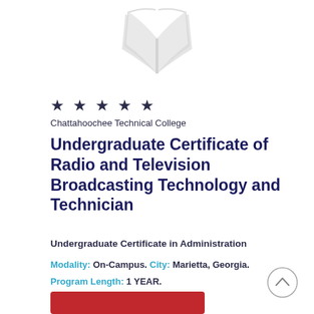[Figure (illustration): Open book logo/illustration in light gray at top center of the card]
★ ★ ★ ★ ★
Chattahoochee Technical College
Undergraduate Certificate of Radio and Television Broadcasting Technology and Technician
Undergraduate Certificate in Administration
Modality: On-Campus. City: Marietta, Georgia.
Program Length: 1 YEAR.